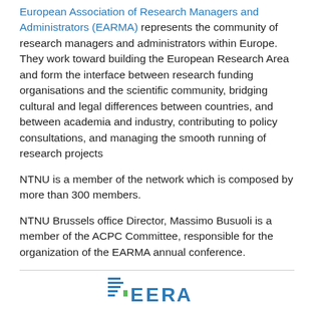European Association of Research Managers and Administrators (EARMA) represents the community of research managers and administrators within Europe. They work toward building the European Research Area and form the interface between research funding organisations and the scientific community, bridging cultural and legal differences between countries, and between academia and industry, contributing to policy consultations, and managing the smooth running of research projects
NTNU is a member of the network which is composed by more than 300 members.
NTNU Brussels office Director, Massimo Busuoli is a member of the ACPC Committee, responsible for the organization of the EARMA annual conference.
[Figure (logo): EERA logo partially visible at bottom of page]